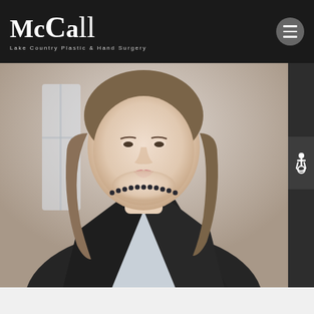McCall Lake Country Plastic & Hand Surgery
[Figure (photo): Professional portrait photo of a woman with shoulder-length brown hair, wearing a dark blazer over a light grey top with a dark pearl necklace. She is photographed from the shoulders up, against a light/neutral background.]